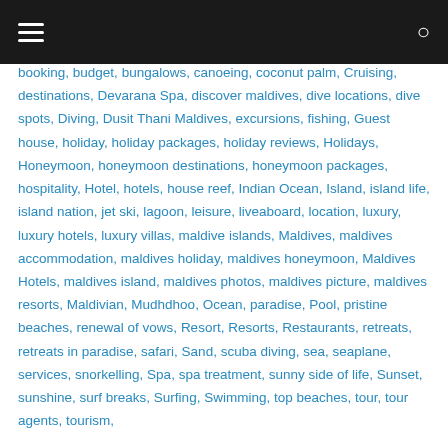Navigation bar with hamburger menu and search icon
booking, budget, bungalows, canoeing, coconut palm, Cruising, destinations, Devarana Spa, discover maldives, dive locations, dive spots, Diving, Dusit Thani Maldives, excursions, fishing, Guest house, holiday, holiday packages, holiday reviews, Holidays, Honeymoon, honeymoon destinations, honeymoon packages, hospitality, Hotel, hotels, house reef, Indian Ocean, Island, island life, island nation, jet ski, lagoon, leisure, liveaboard, location, luxury, luxury hotels, luxury villas, maldive islands, Maldives, maldives accommodation, maldives holiday, maldives honeymoon, Maldives Hotels, maldives island, maldives photos, maldives picture, maldives resorts, Maldivian, Mudhdhoo, Ocean, paradise, Pool, pristine beaches, renewal of vows, Resort, Resorts, Restaurants, retreats, retreats in paradise, safari, Sand, scuba diving, sea, seaplane, services, snorkelling, Spa, spa treatment, sunny side of life, Sunset, sunshine, surf breaks, Surfing, Swimming, top beaches, tour, tour agents, tourism